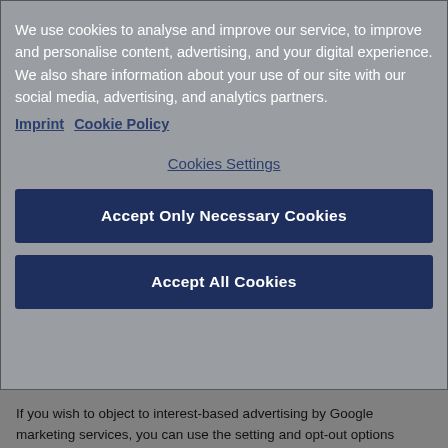We use cookies to analyse and improve our service, to improve and personalise content, advertising, and your digital experience. We also share information about your use of our site with our social media, advertising, and analytics partners.
Imprint   Cookie Policy
Cookies Settings
Accept Only Necessary Cookies
Accept All Cookies
If you wish to object to interest-based advertising by Google marketing services, you can use the setting and opt-out options provided by Google: http://www.google.com/ads/preferences.
Facebook Pixel, Custom Audiences und Facebook Conversion
On the basis of legitimate interest in, and for the purposes of, the analysis, optimisation and economic operation of the websites, the